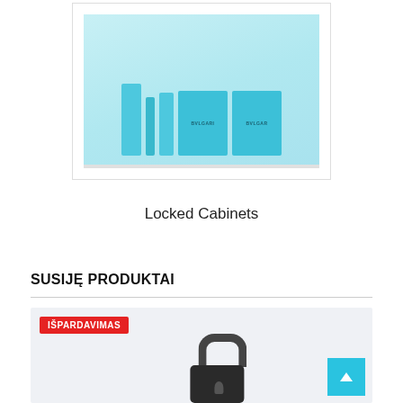[Figure (photo): Photo of a white locked display cabinet shelf containing BVLGARI branded turquoise/teal perfume boxes and bottles]
Locked Cabinets
SUSIJĘ PRODUKTAI
[Figure (photo): Product card showing a sale badge 'IŠPARDAVIMAS' in red and a partial image of a dark-colored padlock on a light blue/grey background, with a cyan scroll-to-top button in the bottom right corner]